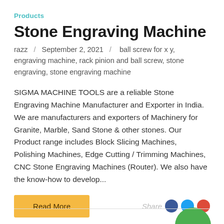Products
Stone Engraving Machine
razz / September 2, 2021 / ball screw for x y, engraving machine, rack pinion and ball screw, stone engraving, stone engraving machine
SIGMA MACHINE TOOLS are a reliable Stone Engraving Machine Manufacturer and Exporter in India. We are manufacturers and exporters of Machinery for Granite, Marble, Sand Stone & other stones. Our Product range includes Block Slicing Machines, Polishing Machines, Edge Cutting / Trimming Machines, CNC Stone Engraving Machines (Router). We also have the know-how to develop...
Read More
Share